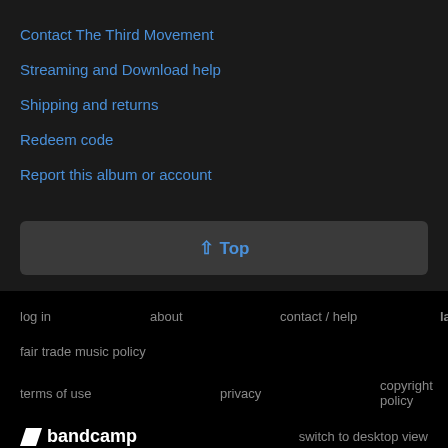Contact The Third Movement
Streaming and Download help
Shipping and returns
Redeem code
Report this album or account
↑ Top
log in   about   contact / help   language: English   fair trade music policy   terms of use   privacy   copyright policy   bandcamp   switch to desktop view